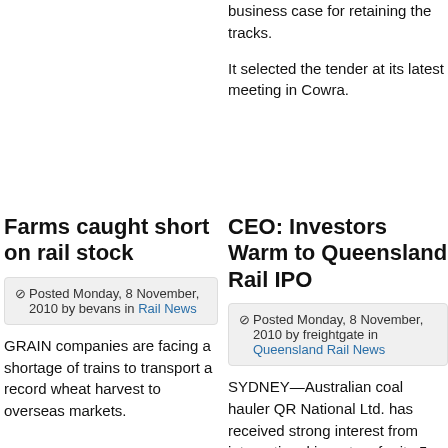business case for retaining the tracks.
It selected the tender at its latest meeting in Cowra.
Farms caught short on rail stock
CEO: Investors Warm to Queensland Rail IPO
Posted Monday, 8 November, 2010 by bevans in Rail News
Posted Monday, 8 November, 2010 by freightgate in Queensland Rail News
GRAIN companies are facing a shortage of trains to transport a record wheat harvest to overseas markets.
SYDNEY—Australian coal hauler QR National Ltd. has received strong interest from international investors for its 5